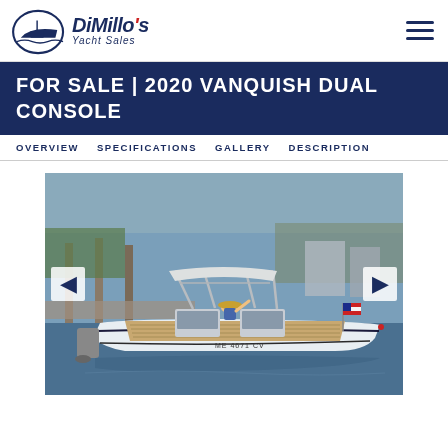DiMillo's Yacht Sales
FOR SALE | 2020 VANQUISH DUAL CONSOLE
OVERVIEW  SPECIFICATIONS  GALLERY  DESCRIPTION
[Figure (photo): 2020 Vanquish Dual Console boat on water, white hull with bimini top, person waving from helm, American flag on stern, navigation light on bow, marina/dock in background.]